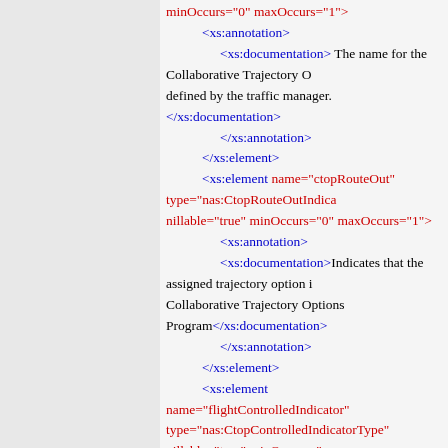XML schema code showing xs:element definitions with annotations and documentation for ctopRouteOut, flightControlledIndicator, and lastRouteAmendment elements.